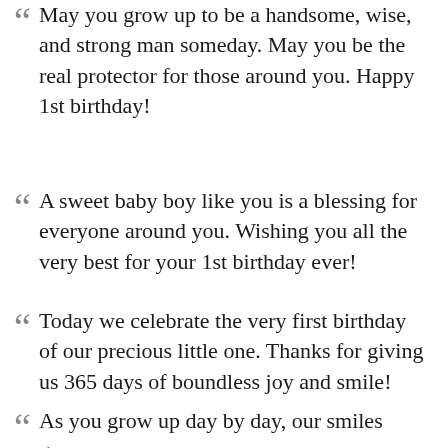May you grow up to be a handsome, wise, and strong man someday. May you be the real protector for those around you. Happy 1st birthday!
A sweet baby boy like you is a blessing for everyone around you. Wishing you all the very best for your 1st birthday ever!
Today we celebrate the very first birthday of our precious little one. Thanks for giving us 365 days of boundless joy and smile!
As you grow up day by day, our smiles grow